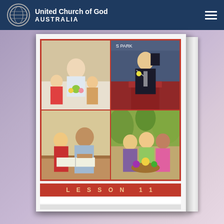United Church of God AUSTRALIA
[Figure (photo): United Church of God Australia website screenshot showing a book cover with four photos: a woman in a hospital bed with children visiting; a man preaching at a podium holding a Bible; a man and girl studying together at a table; an elderly woman with two younger women outdoors. The book cover shows 'LESSON 11' at the bottom.]